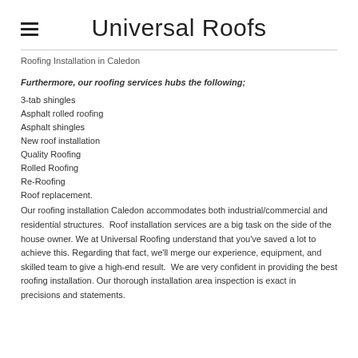Universal Roofs
Roofing Installation in Caledon
Furthermore, our roofing services hubs the following;
3-tab shingles
Asphalt rolled roofing
Asphalt shingles
New roof installation
Quality Roofing
Rolled Roofing
Re-Roofing
Roof replacement.
Our roofing installation Caledon accommodates both industrial/commercial and residential structures. Roof installation services are a big task on the side of the house owner. We at Universal Roofing understand that you've saved a lot to achieve this. Regarding that fact, we'll merge our experience, equipment, and skilled team to give a high-end result. We are very confident in providing the best roofing installation. Our thorough installation area inspection is exact in precisions and statements.